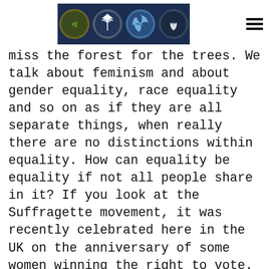[Navigation header with four circular logos on dark background and hamburger menu icon]
miss the forest for the trees. We talk about feminism and about gender equality, race equality and so on as if they are all separate things, when really there are no distinctions within equality. How can equality be equality if not all people share in it? If you look at the Suffragette movement, it was recently celebrated here in the UK on the anniversary of some women winning the right to vote. Some women. Was this a victory? Some would say yes because it paved the way for the vote for all, but I can't help but see it as a [continues]